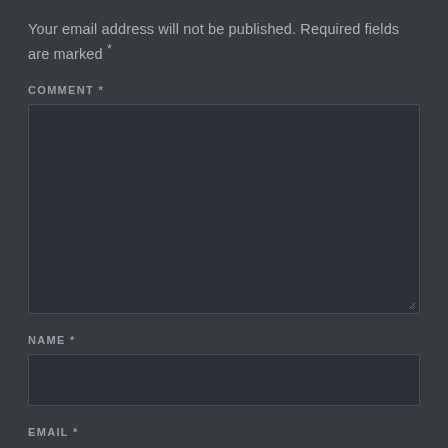Your email address will not be published. Required fields are marked *
COMMENT *
[Figure (other): Comment text area input box, large, dark background with resize handle]
NAME *
[Figure (other): Name text input box, single line, dark background]
EMAIL *